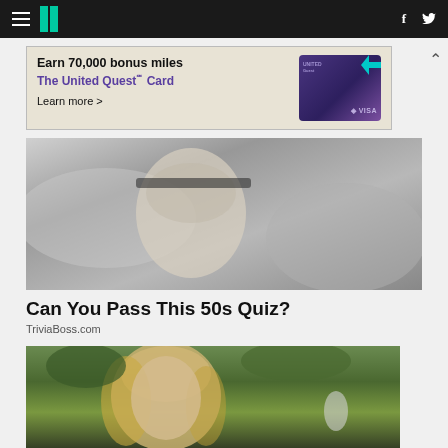HuffPost navigation with hamburger menu, logo, Facebook and Twitter icons
[Figure (screenshot): Advertisement banner: Earn 70,000 bonus miles. The United Quest℠ Card. Learn more > with United Quest credit card image and VISA logo]
[Figure (photo): Black and white photograph of a man wearing a headband, looking at the camera, against a rocky background]
Can You Pass This 50s Quiz?
TriviaBoss.com
[Figure (photo): Color photograph of a person with long blond hair outdoors with trees in the background]